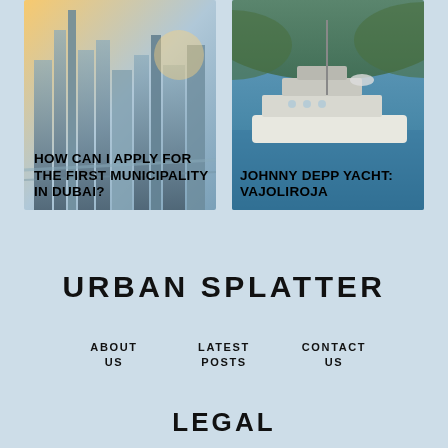[Figure (photo): Dubai city skyline with skyscrapers and golden light]
HOW CAN I APPLY FOR THE FIRST MUNICIPALITY IN DUBAI?
[Figure (photo): Yacht on blue water, Johnny Depp's yacht Vajoliroja]
JOHNNY DEPP YACHT: VAJOLIROJA
URBAN SPLATTER
ABOUT US
LATEST POSTS
CONTACT US
LEGAL
MY ACCOUNT